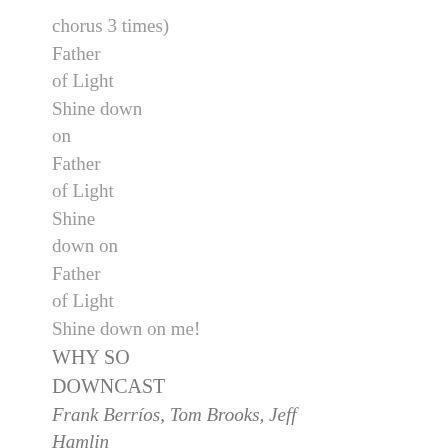chorus 3 times)
Father
of Light
Shine down
on
Father
of Light
Shine
down on
Father
of Light
Shine down on me!
WHY SO DOWNCAST
Frank Berríos, Tom Brooks, Jeff Hamlin
© 1988 Integrity's Hosanna! Music/ASCAP
Why so